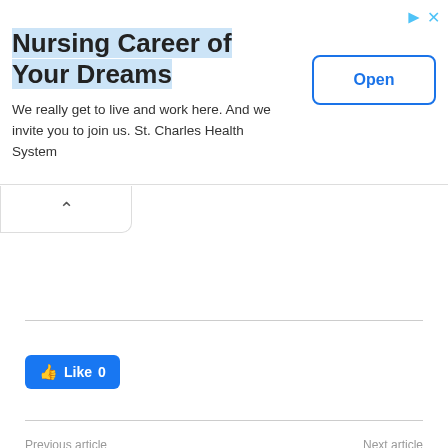[Figure (screenshot): Advertisement banner for St. Charles Health System nursing career with 'Open' button]
[Figure (screenshot): Collapse/chevron up button tab]
[Figure (screenshot): Facebook Like button showing Like 0]
Previous article
Next article
Man killed in firing incident near CRPF camp in south Kashmir
17-10-2021 E-paper